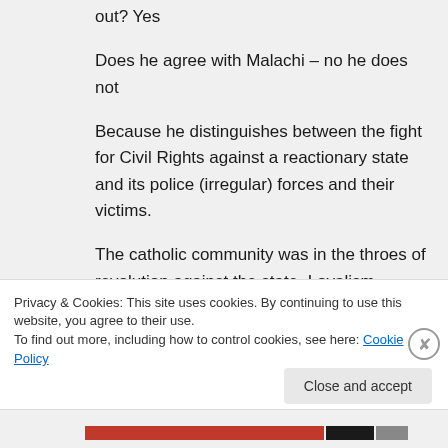out? Yes
Does he agree with Malachi – no he does not
Because he distinguishes between the fight for Civil Rights against a reactionary state and its police (irregular) forces and their victims.
The catholic community was in the throes of revolution against the state. Loyalism
Privacy & Cookies: This site uses cookies. By continuing to use this website, you agree to their use.
To find out more, including how to control cookies, see here: Cookie Policy